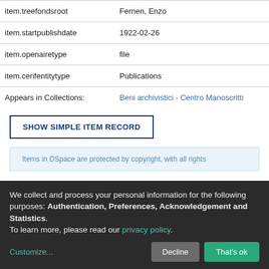| item.treefondsroot | Fernen, Enzo |
| item.startpublishdate | 1922-02-26 |
| item.openairetype | file |
| item.cerifentitytype | Publications |
| Appears in Collections: | Beni archivistici - Centro Manoscritti |
SHOW SIMPLE ITEM RECORD
Items in DSpace are protected by copyright, with all rights
We collect and process your personal information for the following purposes: Authentication, Preferences, Acknowledgement and Statistics. To learn more, please read our privacy policy.
Customize... Decline That's ok